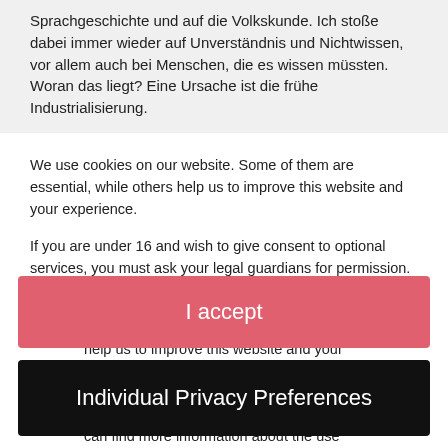Sprachgeschichte und auf die Volkskunde. Ich stoße dabei immer wieder auf Unverständnis und Nichtwissen, vor allem auch bei Menschen, die es wissen müssten. Woran das liegt? Eine Ursache ist die frühe Industrialisierung.
We use cookies on our website. Some of them are essential, while others help us to improve this website and your experience.
If you are under 16 and wish to give consent to optional services, you must ask your legal guardians for permission.
We use cookies and other technologies on our website. Some of them are essential, while others help us to improve this website and your experience. Personal data may be processed (e.g. IP addresses), for example for personalized ads and content or ad and content measurement. You can find more information about the use
I accept
Individual Privacy Preferences